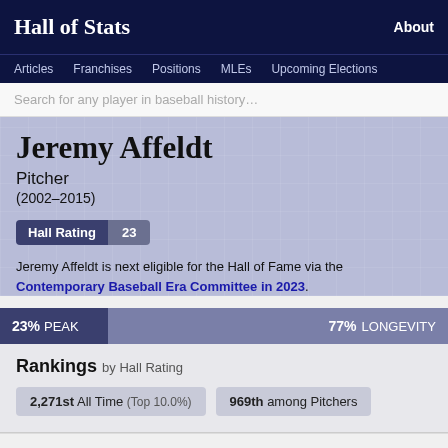Hall of Stats
About
Articles  Franchises  Positions  MLEs  Upcoming Elections
Search for any player in baseball history…
Jeremy Affeldt
Pitcher
(2002–2015)
Hall Rating  23
Jeremy Affeldt is next eligible for the Hall of Fame via the Contemporary Baseball Era Committee in 2023.
23% PEAK   77% LONGEVITY
Rankings by Hall Rating
2,271st All Time (Top 10.0%)
969th among Pitchers
Franchise Contributions by Hall Rating